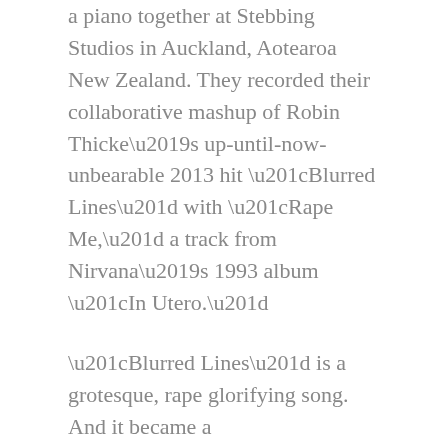a piano together at Stebbing Studios in Auckland, Aotearoa New Zealand. They recorded their collaborative mashup of Robin Thicke’s up-until-now-unbearable 2013 hit “Blurred Lines” with “Rape Me,” a track from Nirvana’s 1993 album “In Utero.”
“Blurred Lines” is a grotesque, rape glorifying song. And it became a
big goddamn hit. You likely already know this. It’s vile. It’s offensive. It’s fucking awful. Also, breaking not-so-fun fact, Robin Thicke has been accused of sexual